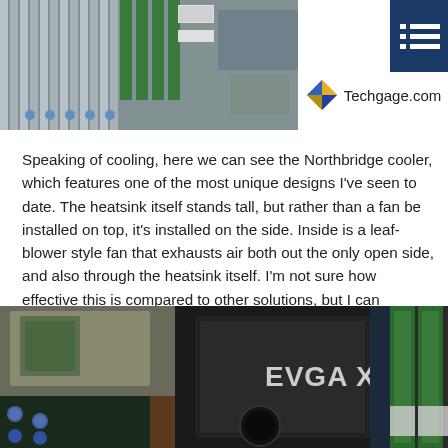[Figure (photo): Close-up photo of a motherboard with green RAM slots, white connectors, and capacitors visible. Techgage.com logo with blue menu icon in top right corner.]
Speaking of cooling, here we can see the Northbridge cooler, which features one of the most unique designs I've seen to date. The heatsink itself stands tall, but rather than a fan be installed on top, it's installed on the side. Inside is a leaf-blower style fan that exhausts air both out the only open side, and also through the heatsink itself. I'm not sure how effective this is compared to other solutions, but I can confidentally say one thing… the Northbridge will still get mighty hot. That's a problem difficult to tackle with modest cooling solutions.
[Figure (photo): Close-up photo of an EVGA X58 motherboard Northbridge cooler/heatsink, black in color with EVGA X58 branding, showing green RAM slots and other motherboard components in the background.]